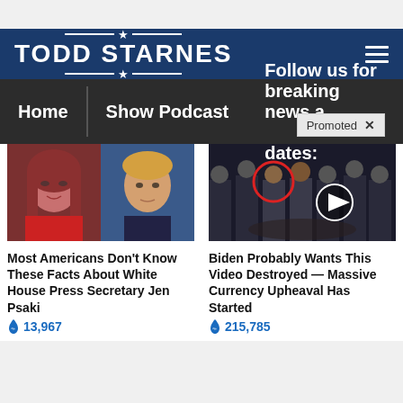[Figure (logo): Todd Starnes website logo — white text on dark blue background with decorative star and horizontal rules]
Home
Show Podcast
Follow us for breaking news a
dates:
Promoted ×
[Figure (photo): Side-by-side photos of Jen Psaki (woman with red hair in red top) and Donald Trump (man in blue tie)]
Most Americans Don't Know These Facts About White House Press Secretary Jen Psaki
🔥 13,967
[Figure (photo): Group of men in suits standing in a row with a red circle highlighting one individual and a video play button overlay, CIA lobby floor visible]
Biden Probably Wants This Video Destroyed — Massive Currency Upheaval Has Started
🔥 215,785